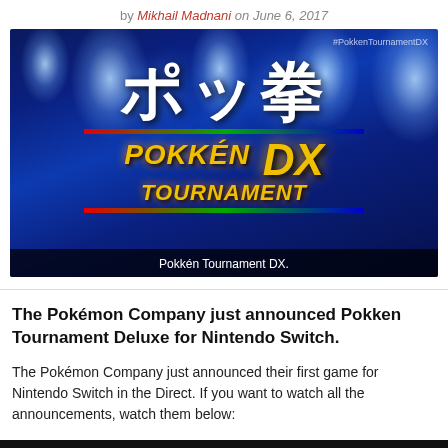by Mikhail Madnani on June 6, 2017
[Figure (photo): Pokkén Tournament DX title screen with Japanese kanji logo on blue background with spotlights, and Pokkén Tournament DX logo in yellow/gold italic text with colored stripe bar. Watermark: #PokkenTournamentDX. Caption overlay: Pokkén Tournament DX.]
Pokkén Tournament DX.
The Pokémon Company just announced Pokken Tournament Deluxe for Nintendo Switch.
The Pokémon Company just announced their first game for Nintendo Switch in the Direct. If you want to watch all the announcements, watch them below: